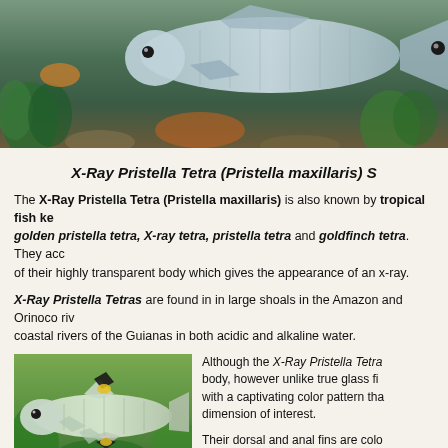[Figure (photo): Close-up photograph of tropical fish (X-Ray Pristella Tetra and other fish) in an aquarium with green plants and substrate]
X-Ray Pristella Tetra (Pristella maxillaris) S...
The X-Ray Pristella Tetra (Pristella maxillaris) is also known by tropical fish ke... golden pristella tetra, X-ray tetra, pristella tetra and goldfinch tetra. They acc... of their highly transparent body which gives the appearance of an x-ray.
X-Ray Pristella Tetras are found in in large shoals in the Amazon and Orinoco riv... coastal rivers of the Guianas in both acidic and alkaline water.
[Figure (photo): Photograph of an X-Ray Pristella Tetra fish showing its transparent body with colored dorsal fin markings against a green background]
Although the X-Ray Pristella Tetra... body, however unlike true glass fi... with a captivating color pattern tha... dimension of interest.
Their dorsal and anal fins are colo...